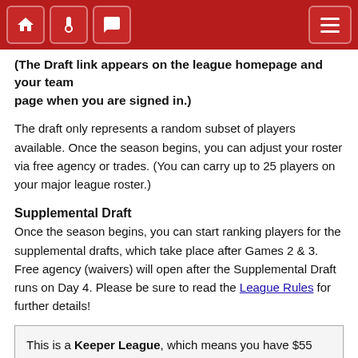Navigation bar with home, thermometer, and chat icons, plus hamburger menu
(The Draft link appears on the league homepage and your team page when you are signed in.)
The draft only represents a random subset of players available. Once the season begins, you can adjust your roster via free agency or trades. (You can carry up to 25 players on your major league roster.)
Supplemental Draft
Once the season begins, you can start ranking players for the supplemental drafts, which take place after Games 2 & 3. Free agency (waivers) will open after the Supplemental Draft runs on Day 4. Please be sure to read the League Rules for further details!
This is a Keeper League, which means you have $55 million to spend on keepers for next season. You must sign the player to a contract before the season en... automatically be removed from the leagu... Spring Pl...